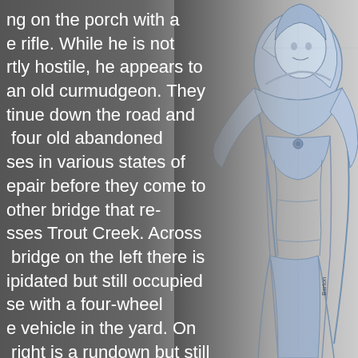ng on the porch with a e rifle. While he is not rtly hostile, he appears to an old curmudgeon. They tinue down the road and four old abandoned ses in various states of epair before they come to other bridge that re-sses Trout Creek. Across bridge on the left there is ipidated but still occupied se with a four-wheel e vehicle in the yard. On right is a rundown but still king farm. The group saw figures loading nething in the back of a truck from one of the
[Figure (illustration): A pencil/color sketch illustration of a fantasy or fictional character, drawn in blue tones, showing a figure in detailed attire with artistic linework. Artist signature 'Barton' visible.]